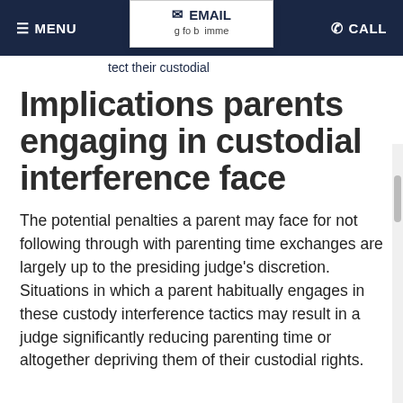MENU | EMAIL | CALL
protect their custodial
Implications parents engaging in custodial interference face
The potential penalties a parent may face for not following through with parenting time exchanges are largely up to the presiding judge’s discretion. Situations in which a parent habitually engages in these custody interference tactics may result in a judge significantly reducing parenting time or altogether depriving them of their custodial rights.